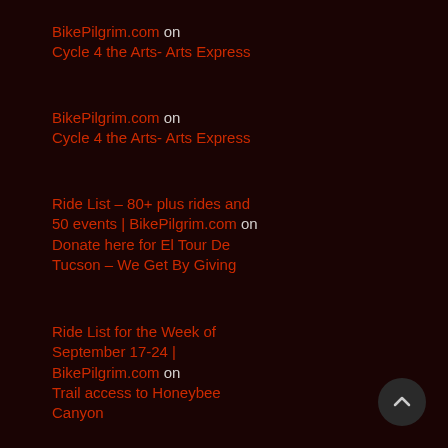BikePilgrim.com on Cycle 4 the Arts- Arts Express
BikePilgrim.com on Cycle 4 the Arts- Arts Express
Ride List – 80+ plus rides and 50 events | BikePilgrim.com on Donate here for El Tour De Tucson – We Get By Giving
Ride List for the Week of September 17-24 | BikePilgrim.com on Trail access to Honeybee Canyon